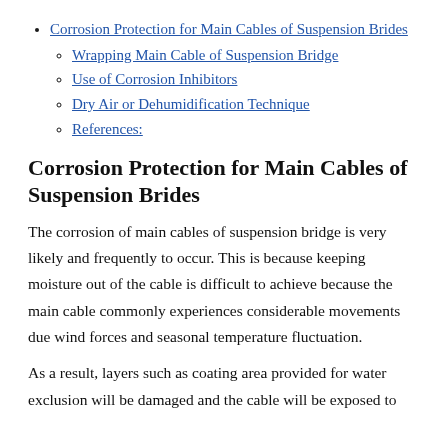Corrosion Protection for Main Cables of Suspension Brides
Wrapping Main Cable of Suspension Bridge
Use of Corrosion Inhibitors
Dry Air or Dehumidification Technique
References:
Corrosion Protection for Main Cables of Suspension Brides
The corrosion of main cables of suspension bridge is very likely and frequently to occur. This is because keeping moisture out of the cable is difficult to achieve because the main cable commonly experiences considerable movements due wind forces and seasonal temperature fluctuation.
As a result, layers such as coating area provided for water exclusion will be damaged and the cable will be exposed to